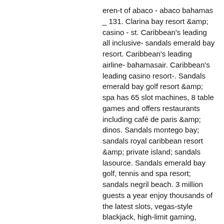eren-t of abaco - abaco bahamas _ 131. Clarina bay resort &amp; casino - st. Caribbean's leading all inclusive- sandals emerald bay resort. Caribbean's leading airline- bahamasair. Caribbean's leading casino resort-. Sandals emerald bay golf resort &amp; spa has 65 slot machines, 8 table games and offers restaurants including café de paris &amp; dinos. Sandals montego bay; sandals royal caribbean resort &amp; private island; sandals lasource. Sandals emerald bay golf, tennis and spa resort; sandals negril beach. 3 million guests a year enjoy thousands of the latest slots, vegas-style blackjack, high-limit gaming, incredible entertainment, sumptuous dining. The architectural styling of the hotel and casino reflects a british colonial theme creating the historical ambience of island plantation life. Treasure bay casino is close to sandals halcyon beach and offers plenty of fun. It's a